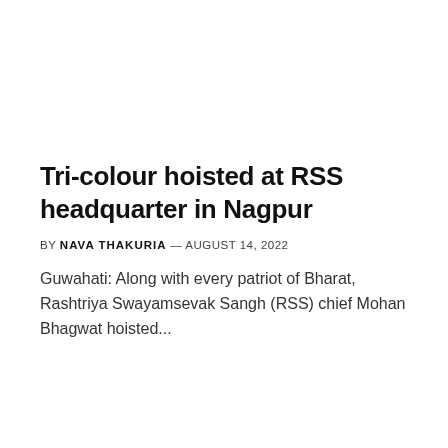Tri-colour hoisted at RSS headquarter in Nagpur
BY NAVA THAKURIA — AUGUST 14, 2022
Guwahati: Along with every patriot of Bharat, Rashtriya Swayamsevak Sangh (RSS) chief Mohan Bhagwat hoisted...